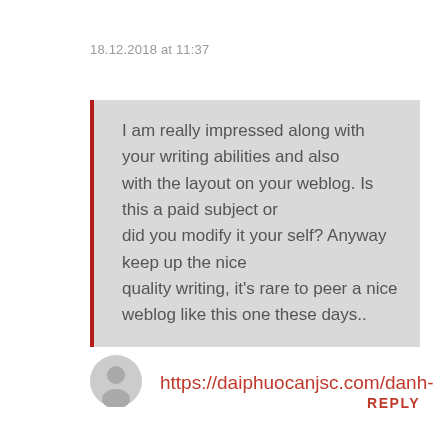18.12.2018 at 11:37
I am really impressed along with your writing abilities and also with the layout on your weblog. Is this a paid subject or did you modify it your self? Anyway keep up the nice quality writing, it's rare to peer a nice weblog like this one these days..
REPLY
[Figure (illustration): User avatar icon - gray silhouette of a person]
https://daiphuocanjsc.com/danh-